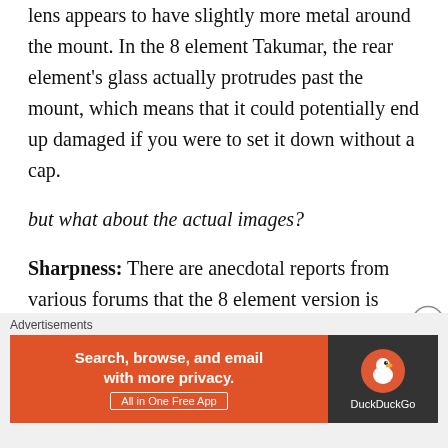lens appears to have slightly more metal around the mount. In the 8 element Takumar, the rear element's glass actually protrudes past the mount, which means that it could potentially end up damaged if you were to set it down without a cap.
but what about the actual images?
Sharpness: There are anecdotal reports from various forums that the 8 element version is noticeably less sharp than the 7 element. To add another to the pile, I'll say that that hasn't really been my experience at all. If I had to go with a gut feeling, it would be that the 7 element version was slightly sharper, but that's not
Advertisements
[Figure (other): DuckDuckGo advertisement banner: orange left panel with text 'Search, browse, and email with more privacy. All in One Free App', dark right panel with DuckDuckGo duck logo and brand name.]